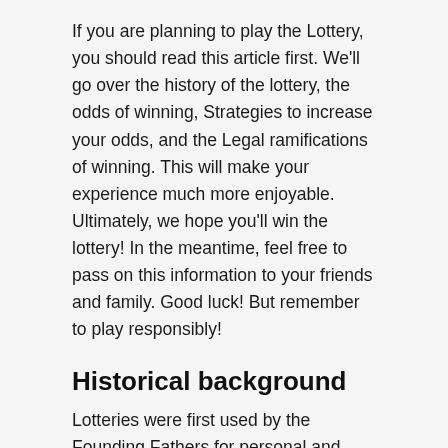If you are planning to play the Lottery, you should read this article first. We'll go over the history of the lottery, the odds of winning, Strategies to increase your odds, and the Legal ramifications of winning. This will make your experience much more enjoyable. Ultimately, we hope you'll win the lottery! In the meantime, feel free to pass on this information to your friends and family. Good luck! But remember to play responsibly!
Historical background
Lotteries were first used by the Founding Fathers for personal and political gain. Ben Franklin and George Washington both established lotteries for political reasons and used them to raise funds. Thomas Jefferson promoted the lottery and ran one in his lifetime, though he died before it was able to